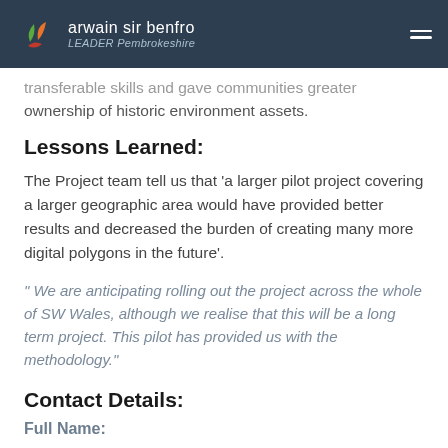arwain sir benfro LEADER Pembrokeshire
transferable skills and gave communities greater ownership of historic environment assets.
Lessons Learned:
The Project team tell us that ‘a larger pilot project covering a larger geographic area would have provided better results and decreased the burden of creating many more digital polygons in the future’.
“ We are anticipating rolling out the project across the whole of SW Wales, although we realise that this will be a long term project. This pilot has provided us with the methodology.”
Contact Details:
Full Name: